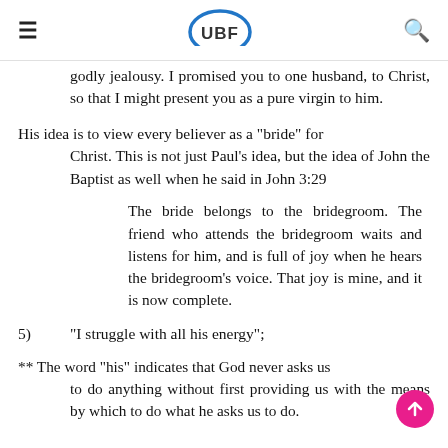UBF
godly jealousy. I promised you to one husband, to Christ, so that I might present you as a pure virgin to him.
His idea is to view every believer as a "bride" for Christ. This is not just Paul's idea, but the idea of John the Baptist as well when he said in John 3:29
The bride belongs to the bridegroom. The friend who attends the bridegroom waits and listens for him, and is full of joy when he hears the bridegroom's voice. That joy is mine, and it is now complete.
5)	"I struggle with all his energy";
** The word "his" indicates that God never asks us to do anything without first providing us with the means by which to do what he asks us to do.